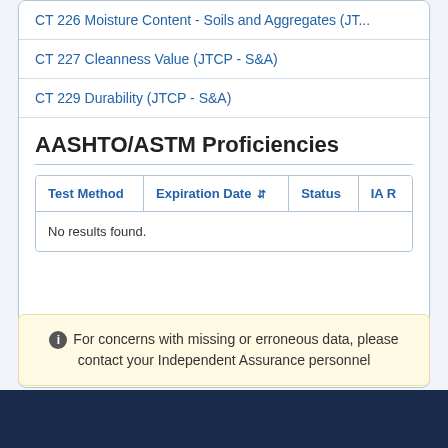CT 226 Moisture Content - Soils and Aggregates (JT...
CT 227 Cleanness Value (JTCP - S&A)
CT 229 Durability (JTCP - S&A)
AASHTO/ASTM Proficiencies
| Test Method | Expiration Date | Status | IA R |
| --- | --- | --- | --- |
| No results found. |  |  |  |
For concerns with missing or erroneous data, please contact your Independent Assurance personnel